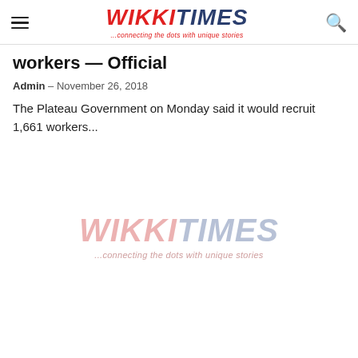WIKKITIMES ...connecting the dots with unique stories
workers — Official
Admin - November 26, 2018
The Plateau Government on Monday said it would recruit 1,661 workers...
[Figure (logo): WikkiTimes logo watermark — ...connecting the dots with unique stories]